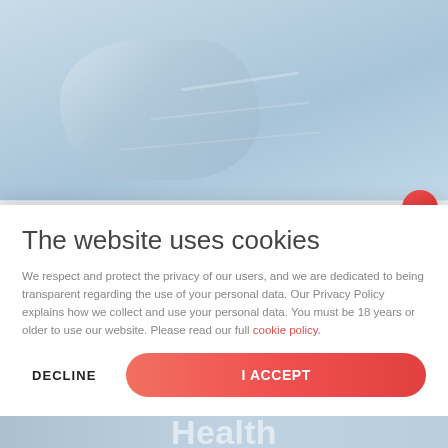[Figure (photo): Background photo showing blue medical/surgical clothing fabric, close-up texture]
The website uses cookies
We respect and protect the privacy of our users, and we are dedicated to being transparent regarding the use of your personal data. Our Privacy Policy explains how we collect and use your personal data. You must be 18 years or older to use our website. Please read our full cookie policy.
DECLINE
I ACCEPT
[Figure (illustration): Partially visible text 'Health' in white overlaid on background image at the bottom]